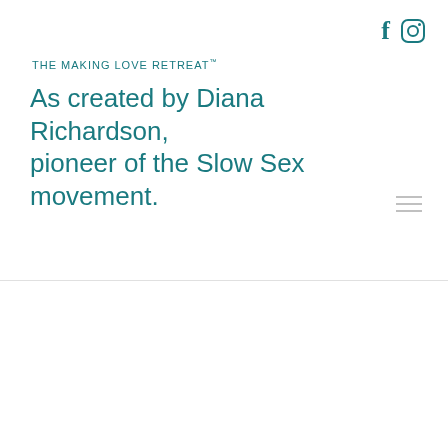THE MAKING LOVE RETREAT™ As created by Diana Richardson, pioneer of the Slow Sex movement.
[Figure (infographic): Social share bar with Facebook, Twitter, Google+, Pinterest, and LinkedIn icons]
Revolution of Love
Posted by: Janet McGeever - June 3, 2022